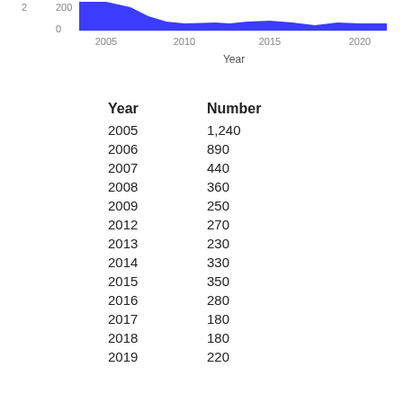[Figure (area-chart): ]
| Year | Number |
| --- | --- |
| 2005 | 1,240 |
| 2006 | 890 |
| 2007 | 440 |
| 2008 | 360 |
| 2009 | 250 |
| 2012 | 270 |
| 2013 | 230 |
| 2014 | 330 |
| 2015 | 350 |
| 2016 | 280 |
| 2017 | 180 |
| 2018 | 180 |
| 2019 | 220 |